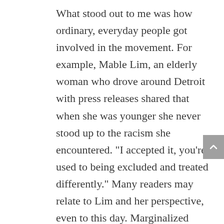What stood out to me was how ordinary, everyday people got involved in the movement. For example, Mable Lim, an elderly woman who drove around Detroit with press releases shared that when she was younger she never stood up to the racism she encountered. "I accepted it, you're used to being excluded and treated differently." Many readers may relate to Lim and her perspective, even to this day. Marginalized groups benefit from learning about the past where coming together for a common cause brings strength to the community as a whole.

Another part of this story that was